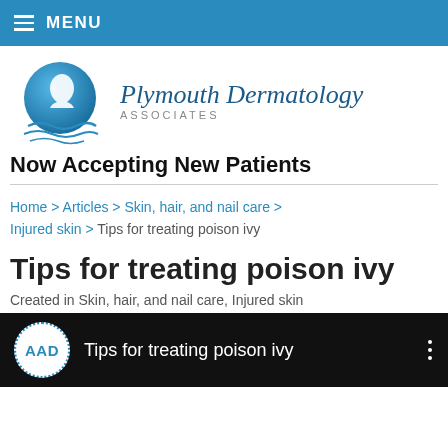MENU
[Figure (logo): Plymouth Dermatology Associates logo — blue circle with stylized face profile and wave elements, with text 'Plymouth Dermatology ASSOCIATES']
Now Accepting New Patients
Home > Articles > Skin, hair, and nail care > Injured skin > Tips for treating poison ivy
Tips for treating poison ivy
Created in Skin, hair, and nail care, Injured skin
[Figure (screenshot): Video thumbnail with AAD logo badge and title 'Tips for treating poison ivy' on dark background with three-dot menu]